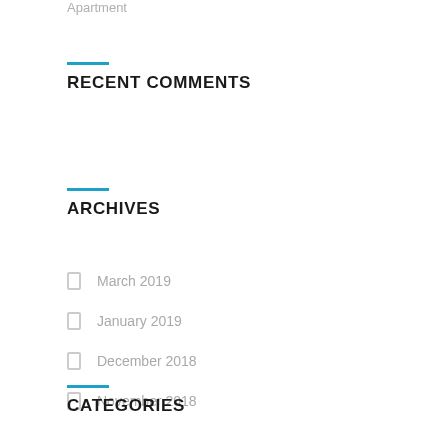Apartment
RECENT COMMENTS
ARCHIVES
March 2019
January 2019
December 2018
November 2018
CATEGORIES